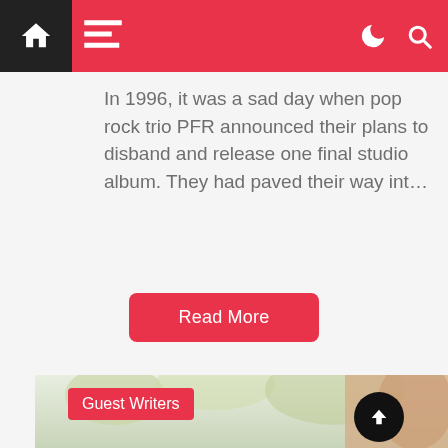Navigation bar with home, menu, dark mode, and search icons
In 1996, it was a sad day when pop rock trio PFR announced their plans to disband and release one final studio album. They had paved their way int…
Read More
[Figure (photo): Photo of a person looking upward with a blurred natural outdoor background, with a Guest Writers badge overlay and an up-arrow button]